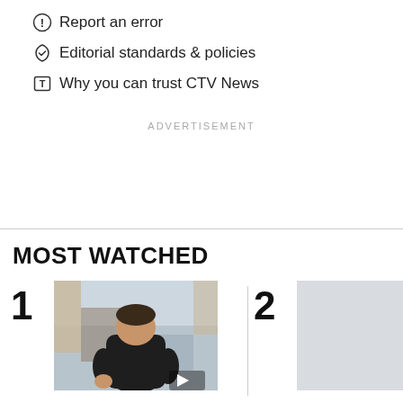Report an error
Editorial standards & policies
Why you can trust CTV News
ADVERTISEMENT
MOST WATCHED
[Figure (photo): Person sitting, wearing black shirt, indoors. Ranked #1 in Most Watched.]
[Figure (photo): Partially visible image for #2 Most Watched item.]